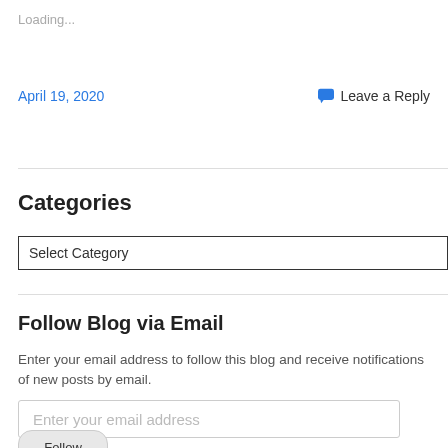Loading...
April 19, 2020
Leave a Reply
Categories
Select Category
Follow Blog via Email
Enter your email address to follow this blog and receive notifications of new posts by email.
Enter your email address
Follow